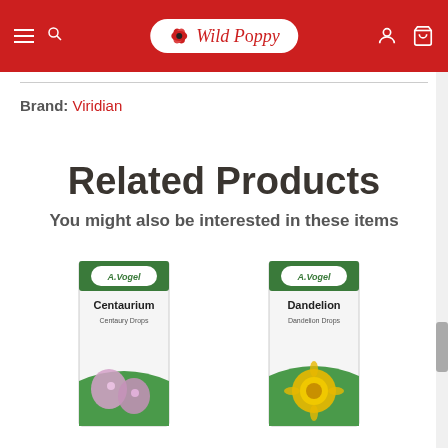Wild Poppy — navigation bar with hamburger menu, search, logo, account, cart
Brand: Viridian
Related Products
You might also be interested in these items
[Figure (photo): A.Vogel Centaurium Centaury Drops product box with pink flower imagery]
[Figure (photo): A.Vogel Dandelion Dandelion Drops product box with yellow dandelion flower imagery]